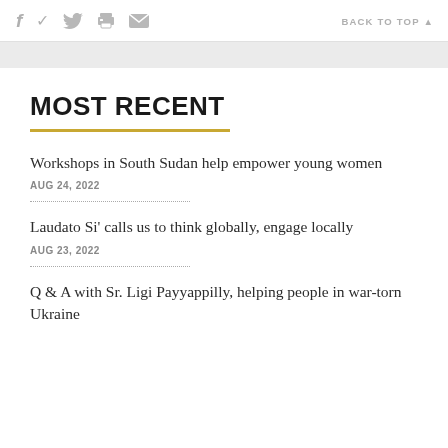f  [twitter]  [print]  [email]   BACK TO TOP ▲
MOST RECENT
Workshops in South Sudan help empower young women
AUG 24, 2022
Laudato Si' calls us to think globally, engage locally
AUG 23, 2022
Q & A with Sr. Ligi Payyappilly, helping people in war-torn Ukraine